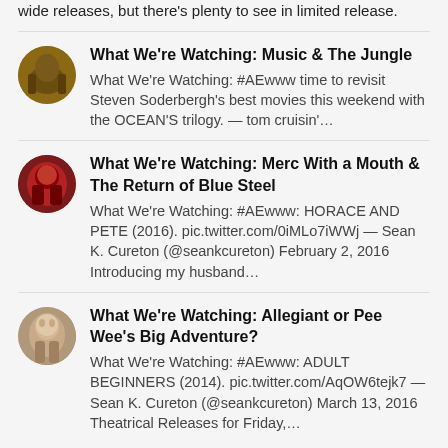wide releases, but there's plenty to see in limited release.
What We're Watching: Music & The Jungle
What We're Watching: #AEwww time to revisit Steven Soderbergh's best movies this weekend with the OCEAN'S trilogy. — tom cruisin'…
What We're Watching: Merc With a Mouth & The Return of Blue Steel
What We're Watching: #AEwww: HORACE AND PETE (2016). pic.twitter.com/0iMLo7iWWj — Sean K. Cureton (@seankcureton) February 2, 2016 Introducing my husband…
What We're Watching: Allegiant or Pee Wee's Big Adventure?
What We're Watching: #AEwww: ADULT BEGINNERS (2014). pic.twitter.com/AqOW6tejk7 — Sean K. Cureton (@seankcureton) March 13, 2016 Theatrical Releases for Friday,…